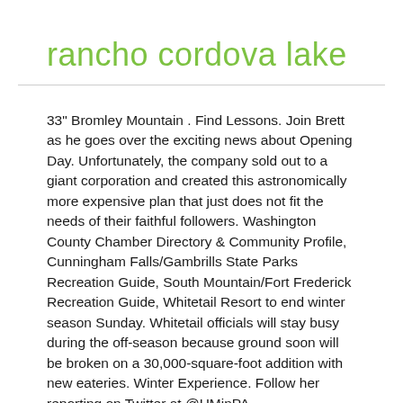rancho cordova lake
33" Bromley Mountain . Find Lessons. Join Brett as he goes over the exciting news about Opening Day. Unfortunately, the company sold out to a giant corporation and created this astronomically more expensive plan that just does not fit the needs of their faithful followers. Washington County Chamber Directory & Community Profile, Cunningham Falls/Gambrills State Parks Recreation Guide, South Mountain/Fort Frederick Recreation Guide, Whitetail Resort to end winter season Sunday. Whitetail officials will stay busy during the off-season because ground soon will be broken on a 30,000-square-foot addition with new eateries. Winter Experience. Follow her reporting on Twitter at @HMinPA. MORE:Whitetail, Roundtop & Liberty resorts to be sold for $76 million. 26" Mount Sunapee. While we’re hopeful about restarting our